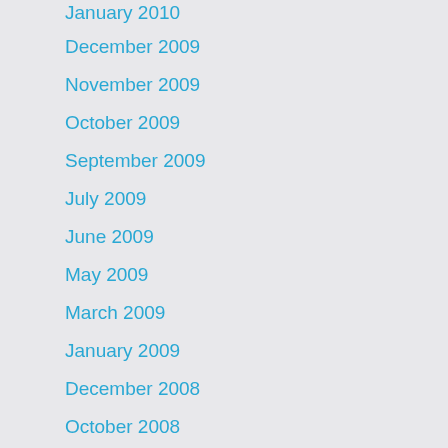January 2010
December 2009
November 2009
October 2009
September 2009
July 2009
June 2009
May 2009
March 2009
January 2009
December 2008
October 2008
September 2008
August 2008